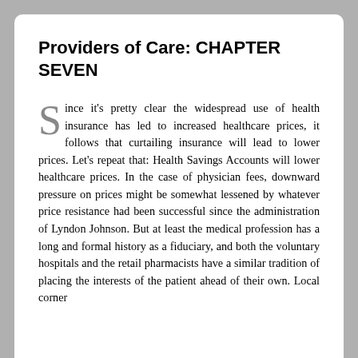Providers of Care: CHAPTER SEVEN
Since it's pretty clear the widespread use of health insurance has led to increased healthcare prices, it follows that curtailing insurance will lead to lower prices. Let's repeat that: Health Savings Accounts will lower healthcare prices. In the case of physician fees, downward pressure on prices might be somewhat lessened by whatever price resistance had been successful since the administration of Lyndon Johnson. But at least the medical profession has a long and formal history as a fiduciary, and both the voluntary hospitals and the retail pharmacists have a similar tradition of placing the interests of the patient ahead of their own. Local corner